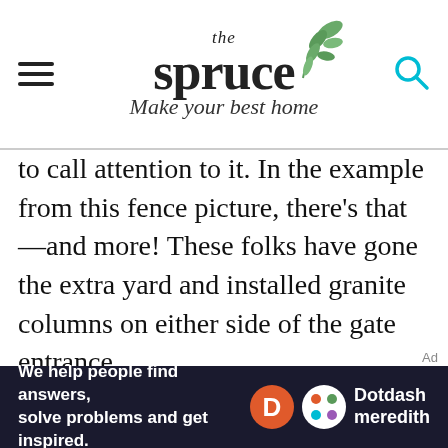the spruce — Make your best home
to call attention to it. In the example from this fence picture, there's that—and more! These folks have gone the extra yard and installed granite columns on either side of the gate entrance.
[Figure (logo): Dotdash Meredith advertisement banner: 'We help people find answers, solve problems and get inspired.']